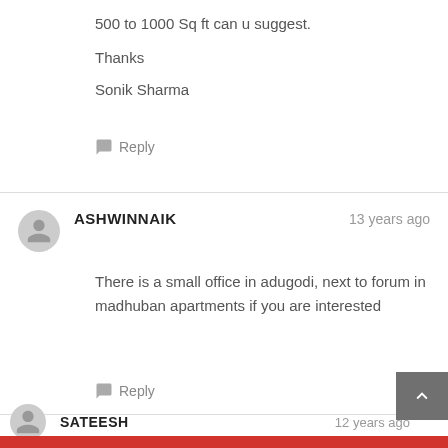500 to 1000 Sq ft can u suggest.
Thanks
Sonik Sharma
Reply
ASHWINNAIK — 13 years ago
There is a small office in adugodi, next to forum in madhuban apartments if you are interested
Reply
SATEESH — 12 years ago